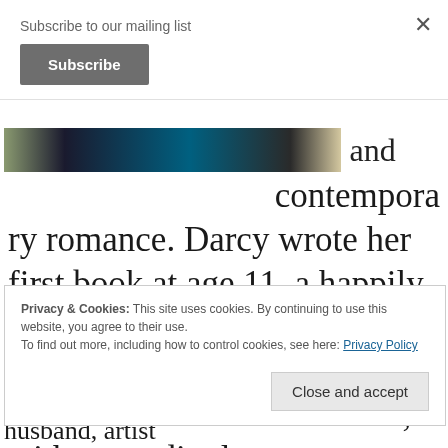Subscribe to our mailing list
Subscribe
×
[Figure (photo): Partial image strip showing a dark background with teal/green colors, partially cropped at top of main content area]
and contempora ry romance. Darcy wrote her first book at age 11, a happily ever after about a swan addicted to magic and the female swan who loved him, with exceedingly
Privacy & Cookies: This site uses cookies. By continuing to use this website, you agree to their use.
To find out more, including how to control cookies, see here: Privacy Policy
Close and accept
country with her guitar-strumming husband, artist